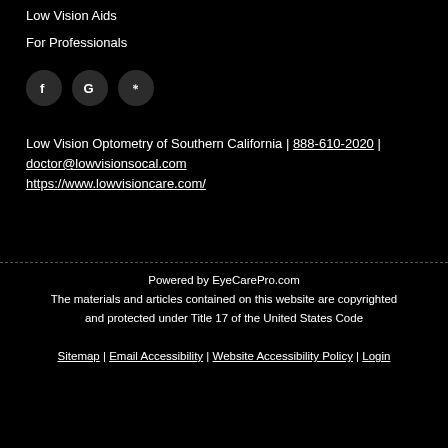Low Vision Aids
For Professionals
[Figure (other): Three social media icon buttons: Facebook, Google, Yelp — white icons on dark circular backgrounds]
Low Vision Optometry of Southern California | 888-610-2020 | doctor@lowvisionsocal.com https://www.lowvisioncare.com/
Powered by EyeCarePro.com
The materials and articles contained on this website are copyrighted and protected under Title 17 of the United States Code
Sitemap | Email Accessibility | Website Accessibility Policy | Login